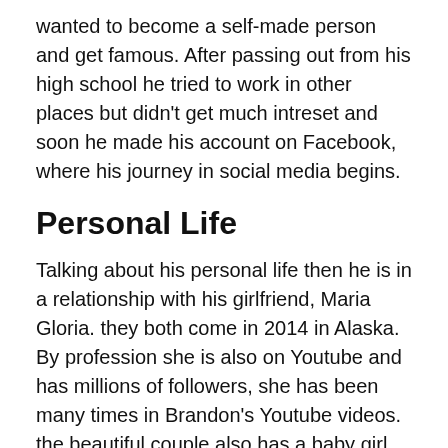wanted to become a self-made person and get famous. After passing out from his high school he tried to work in other places but didn't get much intreset and soon he made his account on Facebook, where his journey in social media begins.
Personal Life
Talking about his personal life then he is in a relationship with his girlfriend, Maria Gloria. they both come in 2014 in Alaska. By profession she is also on Youtube and has millions of followers, she has been many times in Brandon's Youtube videos. the beautiful couple also has a baby girl.